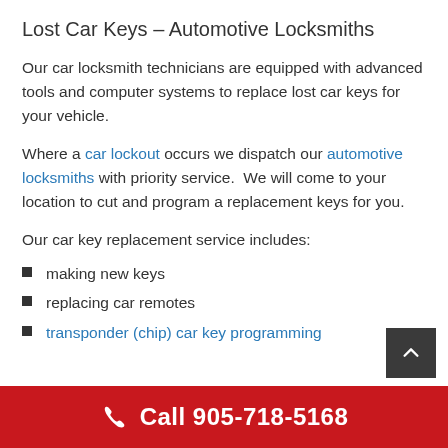Lost Car Keys – Automotive Locksmiths
Our car locksmith technicians are equipped with advanced tools and computer systems to replace lost car keys for your vehicle.
Where a car lockout occurs we dispatch our automotive locksmiths with priority service.  We will come to your location to cut and program a replacement keys for you.
Our car key replacement service includes:
making new keys
replacing car remotes
transponder (chip) car key programming
Call 905-718-5168